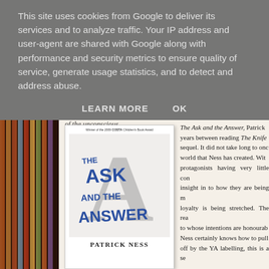This site uses cookies from Google to deliver its services and to analyze traffic. Your IP address and user-agent are shared with Google along with performance and security metrics to ensure quality of service, generate usage statistics, and to detect and address abuse.
LEARN MORE    OK
of the unconscious.
[Figure (illustration): Book cover of 'The Ask and the Answer' by Patrick Ness. Winner of the 2009 Costa Children's Book Award. Large stylized letter A in grey with blue handwritten text 'The Ask and the Answer' overlaid.]
The Ask and the Answer, Patrick... years between reading The Knife... sequel. It did not take long to onc... world that Ness has created. Wit... protagonists having very little con... insight in to how they are being m... loyalty is being stretched. The rea... to whose intentions are honourab... Ness certainly knows how to pull... off by the YA labelling, this is a se...